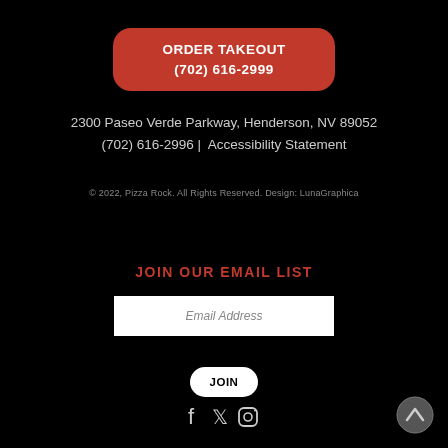ORDER TAKEOUT
(702) 616-2999
2300 Paseo Verde Parkway, Henderson, NV 89052
(702) 616-2996 | Accessibility Statement
© 2022, Pizza Rock. All Rights Reserved. Design: LunaGraphica
JOIN OUR EMAIL LIST
Email Address
JOIN
[Figure (illustration): Social media icons: Facebook, Twitter, Instagram]